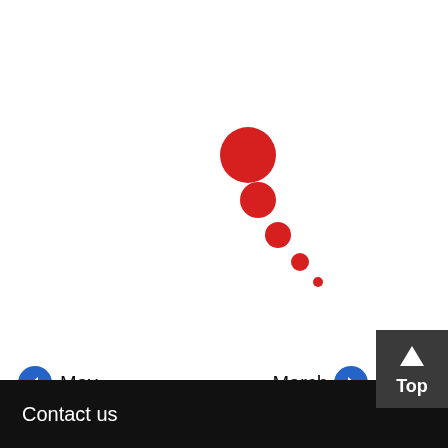[Figure (other): A diagonal trail of red circles decreasing in size from top-left to bottom-right, resembling a bubble chart or scatter decoration. Five red circles arranged diagonally, largest at top-left and smallest at bottom-right.]
← May
March →
↑ Top
Contact us